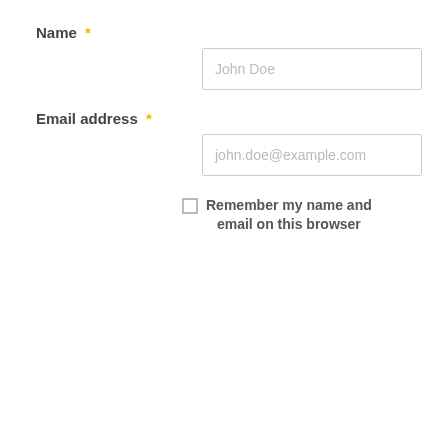Name *
[Figure (screenshot): Text input field with placeholder 'John Doe']
Email address *
[Figure (screenshot): Text input field with placeholder 'john.doe@example.com']
Remember my name and email on this browser